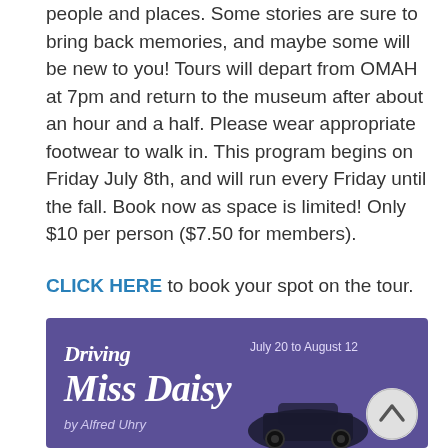people and places. Some stories are sure to bring back memories, and maybe some will be new to you! Tours will depart from OMAH at 7pm and return to the museum after about an hour and a half. Please wear appropriate footwear to walk in. This program begins on Friday July 8th, and will run every Friday until the fall. Book now as space is limited! Only $10 per person ($7.50 for members).
CLICK HERE to book your spot on the tour.
[Figure (illustration): Purple promotional banner for 'Driving Miss Daisy' by Alfred Uhry, July 20 to August 12, with large white serif title text and a dark car silhouette]